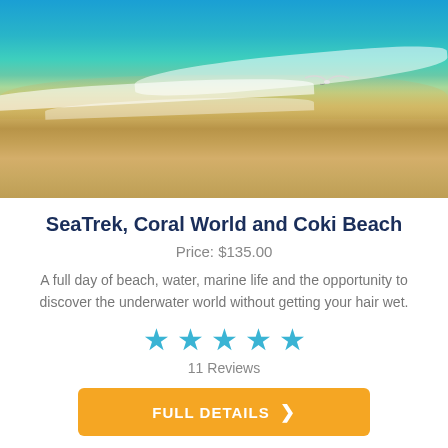[Figure (photo): Aerial/ground-level beach photo showing turquoise ocean waves washing onto sandy shore with a seagull in flight]
SeaTrek, Coral World and Coki Beach
Price: $135.00
A full day of beach, water, marine life and the opportunity to discover the underwater world without getting your hair wet.
[Figure (other): 5 blue star rating icons]
11 Reviews
FULL DETAILS >